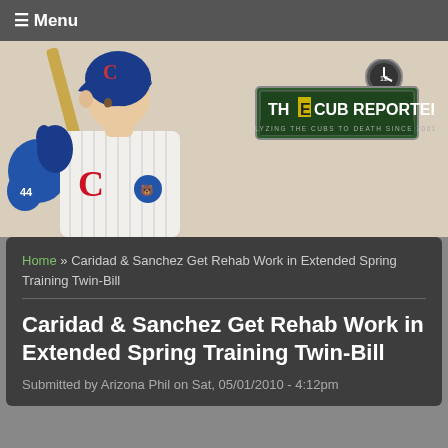☰ Menu
[Figure (illustration): Illustrated Chicago Cubs baseball player in batting stance wearing blue Cubs helmet and pinstripe uniform, holding a bat. The Cub Reporter logo is in the upper right corner with text 'THE CUB REPORTER - ANALYZING THE CUBS TO DEATH SINCE 2001'.]
Home » Caridad & Sanchez Get Rehab Work in Extended Spring Training Twin-Bill
Caridad & Sanchez Get Rehab Work in Extended Spring Training Twin-Bill
Submitted by Arizona Phil on Sat, 05/01/2010 - 4:12pm